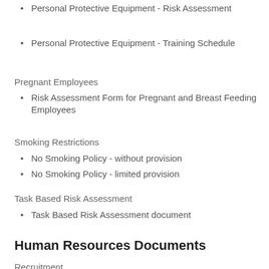Personal Protective Equipment - Risk Assessment
Personal Protective Equipment - Training Schedule
Pregnant Employees
Risk Assessment Form for Pregnant and Breast Feeding Employees
Smoking Restrictions
No Smoking Policy - without provision
No Smoking Policy - limited provision
Task Based Risk Assessment
Task Based Risk Assessment document
Human Resources Documents
Recruitment